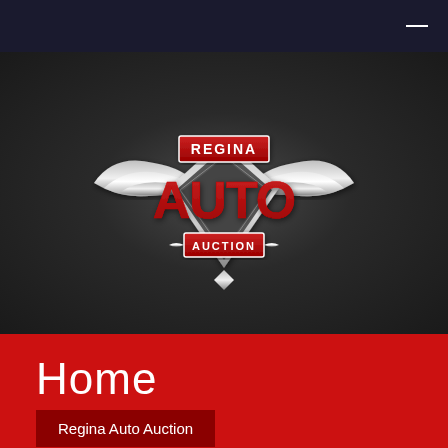[Figure (logo): Regina Auto Auction logo with wings, downward-pointing triangle/shield, red banner with REGINA text, large red AUTO text, and red banner with AUCTION text, chrome/silver metallic styling]
Home
Regina Auto Auction